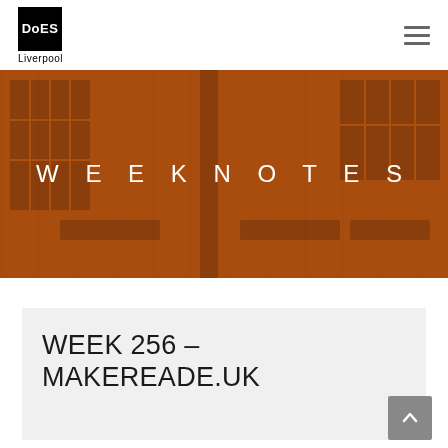DoES Liverpool
[Figure (photo): Office interior photo with warm orange/brown overlay tint showing workspaces, windows, and furniture]
WEEKNOTES
WEEK 256 – MAKEREAДЕ.UK